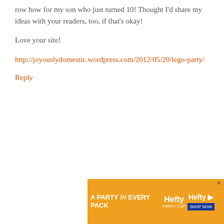row how for my son who just turned 10! Thought I'd share my ideas with your readers, too, if that's okay!
Love your site!
http://joyouslydomestic.wordpress.com/2012/05/20/lego-party/
Reply
CHAMBLESS2006 SAYS
JUNE 1, 2012 AT 7:38 PM
Does a ... font?